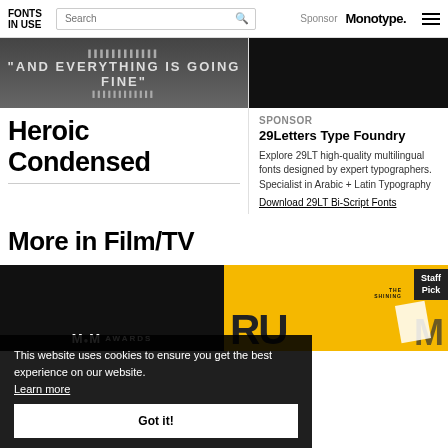FONTS IN USE | Search | Sponsor Monotype.
[Figure (photo): Dark film still with white text 'AND EVERYTHING IS GOING FINE']
Heroic Condensed
[Figure (photo): Dark/black image (sponsor advertisement)]
Sponsor
29Letters Type Foundry
Explore 29LT high-quality multilingual fonts designed by expert typographers. Specialist in Arabic + Latin Typography
Download 29LT Bi-Script Fonts
More in Film/TV
[Figure (photo): Dark thumbnail image with MIM AWARDS text at bottom]
[Figure (photo): Yellow thumbnail with Staff Pick ribbon, The Shining text, RU letters, M letter]
This website uses cookies to ensure you get the best experience on our website. Learn more
Got it!